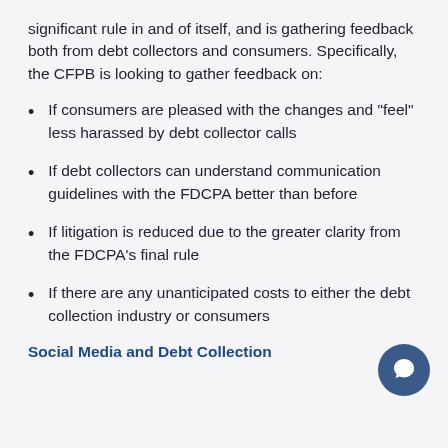significant rule in and of itself, and is gathering feedback both from debt collectors and consumers. Specifically, the CFPB is looking to gather feedback on:
If consumers are pleased with the changes and "feel" less harassed by debt collector calls
If debt collectors can understand communication guidelines with the FDCPA better than before
If litigation is reduced due to the greater clarity from the FDCPA's final rule
If there are any unanticipated costs to either the debt collection industry or consumers
Social Media and Debt Collection